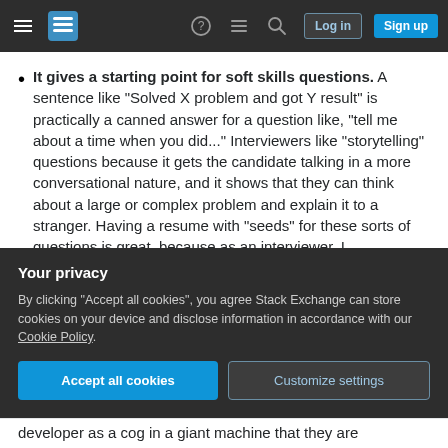Stack Exchange navigation bar with hamburger menu, logo, help, chat, search icons, and Log in / Sign up buttons
It gives a starting point for soft skills questions. A sentence like "Solved X problem and got Y result" is practically a canned answer for a question like, "tell me about a time when you did..." Interviewers like "storytelling" questions because it gets the candidate talking in a more conversational nature, and it shows that they can think about a large or complex problem and explain it to a stranger. Having a resume with "seeds" for these sorts of questions is great, because as an interviewer, I
Your privacy
By clicking "Accept all cookies", you agree Stack Exchange can store cookies on your device and disclose information in accordance with our Cookie Policy.
Accept all cookies
Customize settings
developer as a cog in a giant machine that they are